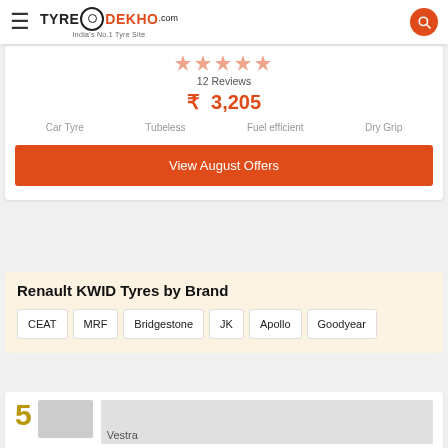TyreDekho.com — India's No.1 Tyre Site
12 Reviews
₹ 3,205
Car Tyre  Tubeless  Fuel efficient  Dry Grip
View August Offers
Renault KWID Tyres by Brand
CEAT
MRF
Bridgestone
JK
Apollo
Goodyear
5
Vestra